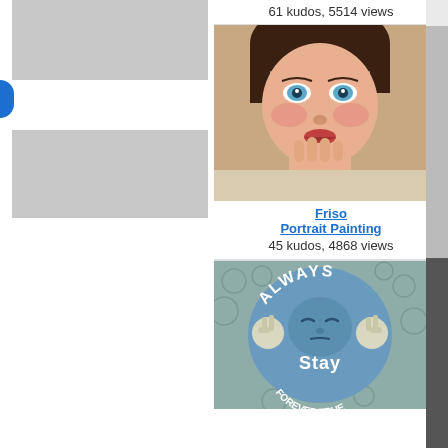61 kudos, 5514 views
[Figure (photo): Portrait painting of a young girl with blue eyes biting her fingers, hyperrealistic style]
Friso
Portrait Painting
45 kudos, 4868 views
[Figure (illustration): Cartoon illustration of a blue character with peace signs, text reading 'Always Stay Forever True']